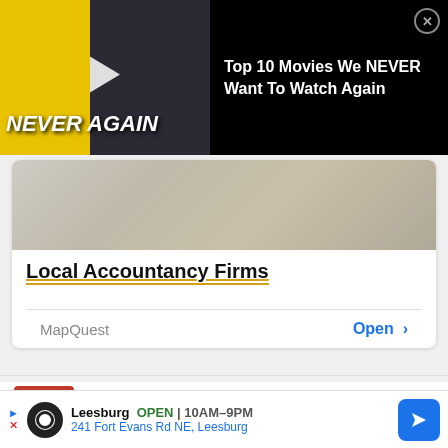[Figure (screenshot): Video ad banner: 'Top 10 Movies We NEVER Want To Watch Again' with thumbnail showing woman and Batman vs Superman imagery, play button overlay, and close button]
[Figure (photo): MapQuest card showing accountancy documents/papers on a desk with people reviewing them]
Local Accountancy Firms
MapQuest    Open >
11  David Douillet
Leesburg  OPEN | 10AM–9PM  241 Fort Evans Rd NE, Leesburg